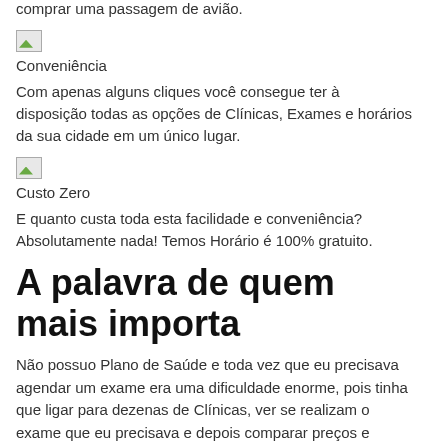comprar uma passagem de avião.
[Figure (illustration): Small icon image placeholder (broken image icon) representing Conveniência]
Conveniência
Com apenas alguns cliques você consegue ter à disposição todas as opções de Clínicas, Exames e horários da sua cidade em um único lugar.
[Figure (illustration): Small icon image placeholder (broken image icon) representing Custo Zero]
Custo Zero
E quanto custa toda esta facilidade e conveniência? Absolutamente nada! Temos Horário é 100% gratuito.
A palavra de quem mais importa
Não possuo Plano de Saúde e toda vez que eu precisava agendar um exame era uma dificuldade enorme, pois tinha que ligar para dezenas de Clínicas, ver se realizam o exame que eu precisava e depois comparar preços e horários disponíveis.
Depois que comecei a usar o Temos Horário eu só preciso dizer qual o exame que quero fazer e o site já faz toda a